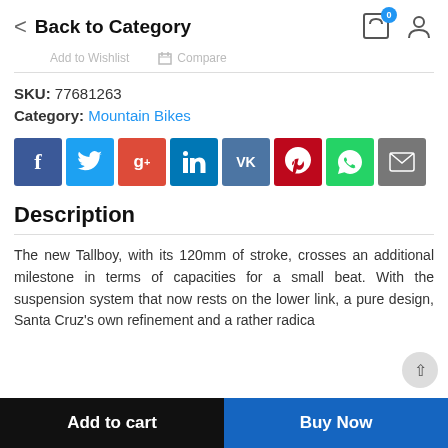< Back to Category
SKU: 77681263
Category: Mountain Bikes
[Figure (infographic): Social share buttons: Facebook, Twitter, Google+, LinkedIn, VK, Pinterest, WhatsApp, Email]
Description
The new Tallboy, with its 120mm of stroke, crosses an additional milestone in terms of capacities for a small beat. With the suspension system that now rests on the lower link, a pure design, Santa Cruz's own refinement and a rather radical
Add to cart  |  Buy Now